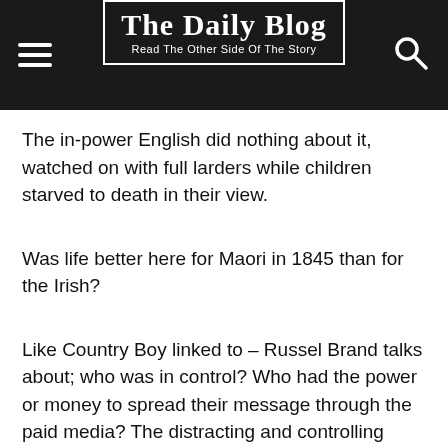The Daily Blog — Read The Other Side Of The Story
The in-power English did nothing about it, watched on with full larders while children starved to death in their view.
Was life better here for Maori in 1845 than for the Irish?
Like Country Boy linked to – Russel Brand talks about; who was in control? Who had the power or money to spread their message through the paid media? The distracting and controlling message?
Written published accounts are that life was very very harsh in Scotland England etc for any not rich person at that time.
Not to blame the English specifically, any (rich) power tripping asshole would be the same; Pol Pot, Stalin, Gengis Khan, Caligula, Hitler, or that